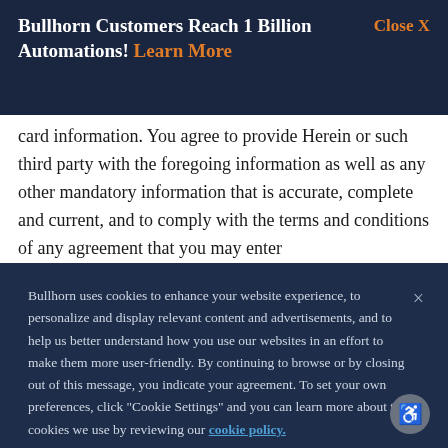Bullhorn Customers Reach 1 Billion Automations! Learn More   Close X
card information. You agree to provide Herein or such third party with the foregoing information as well as any other mandatory information that is accurate, complete and current, and to comply with the terms and conditions of any agreement that you may enter
Bullhorn uses cookies to enhance your website experience, to personalize and display relevant content and advertisements, and to help us better understand how you use our websites in an effort to make them more user-friendly. By continuing to browse or by closing out of this message, you indicate your agreement. To set your own preferences, click "Cookie Settings" and you can learn more about the cookies we use by reviewing our cookie policy.
Cookies Settings